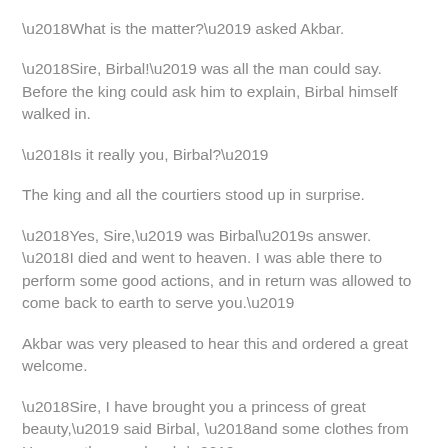‘What is the matter?’ asked Akbar.
‘Sire, Birbal!’ was all the man could say. Before the king could ask him to explain, Birbal himself walked in.
‘Is it really you, Birbal?’
The king and all the courtiers stood up in surprise.
‘Yes, Sire,’ was Birbal’s answer. ‘I died and went to heaven. I was able there to perform some good actions, and in return was allowed to come back to earth to serve you.’
Akbar was very pleased to hear this and ordered a great welcome.
‘Sire, I have brought you a princess of great beauty,’ said Birbal, ‘and some clothes from Heaven; they are lovely.’
‘Bring them here,’ said the king. ‘Why are you waiting?’